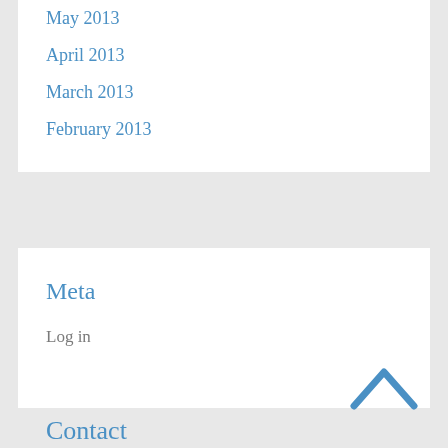May 2013
April 2013
March 2013
February 2013
Meta
Log in
Contact